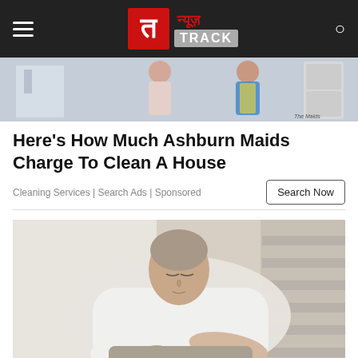न्यूज़ TRACK (News Track logo)
[Figure (photo): Advertisement banner image showing maids/cleaning service workers in a home setting]
Here's How Much Ashburn Maids Charge To Clean A House
Cleaning Services | Search Ads | Sponsored
[Figure (photo): Photo of a woman lying on a couch or bed, resting with eyes closed, wearing a white t-shirt]